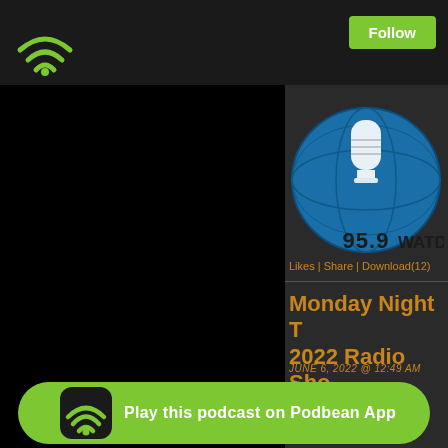[Figure (logo): Green WiFi signal icon on dark header bar]
Follow
[Figure (logo): 95.9 WATD radio station logo with globe and microphone, blue circular design]
[Figure (other): Black video/audio player panel on the left side]
Likes | Share | Download(12)
Monday Night T 2022 Radio Sho
JUNE 6, 2022 @ 12:49 AM
The radio show kicks off
batra, Nicole O
of the non
[Figure (logo): Podbean App banner with green background, Podbean wifi icon, and text Play this podcast on Podbean App]